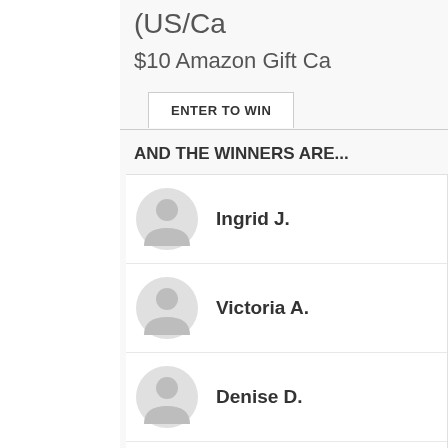(US/Ca...
$10 Amazon Gift Ca...
ENTER TO WIN
AND THE WINNERS ARE...
Ingrid J.
Victoria A.
Denise D.
Ashley C.
KV H.